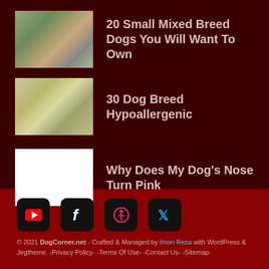[Figure (photo): Thumbnail image of a mixed breed dog outdoors]
20 Small Mixed Breed Dogs You Will Want To Own
[Figure (photo): Thumbnail image of hypoallergenic dogs outdoors]
30 Dog Breed Hypoallergenic
[Figure (photo): White/blank thumbnail image]
Why Does My Dog’s Nose Turn Pink
[Figure (other): Social media icons: YouTube, Facebook, Pinterest, Twitter]
© 2021 DogCorner.net - Crafted & Managed by Imon Reza with WordPress & Jegtheme. -Privacy Policy- -Terms Of Use- -Contact Us- -Sitemap-